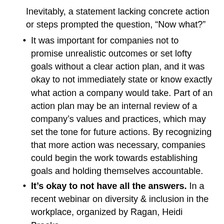Inevitably, a statement lacking concrete action or steps prompted the question, “Now what?”
It was important for companies not to promise unrealistic outcomes or set lofty goals without a clear action plan, and it was okay to not immediately state or know exactly what action a company would take. Part of an action plan may be an internal review of a company’s values and practices, which may set the tone for future actions. By recognizing that more action was necessary, companies could begin the work towards establishing goals and holding themselves accountable.
It’s okay to not have all the answers. In a recent webinar on diversity & inclusion in the workplace, organized by Ragan, Heidi Brooks